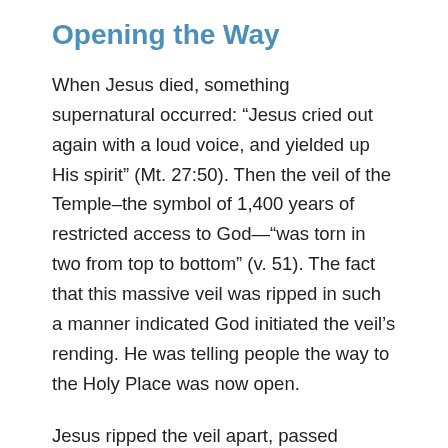Opening the Way
When Jesus died, something supernatural occurred: “Jesus cried out again with a loud voice, and yielded up His spirit” (Mt. 27:50). Then the veil of the Temple–the symbol of 1,400 years of restricted access to God—“was torn in two from top to bottom” (v. 51). The fact that this massive veil was ripped in such a manner indicated God initiated the veil’s rending. He was telling people the way to the Holy Place was now open.
Jesus ripped the veil apart, passed through the earthly Holy of Holies, and moved into the